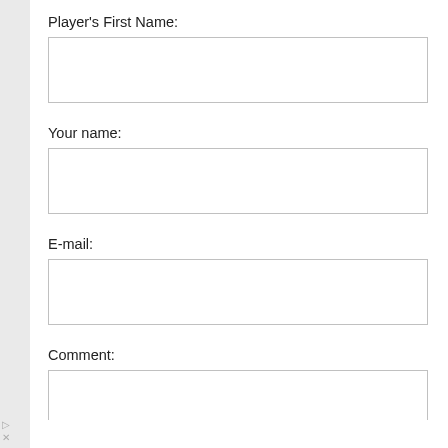Player's First Name:
(input field)
Your name:
(input field)
E-mail:
(input field)
Comment:
(text area partial)
[Figure (screenshot): Advertisement banner for Hair Cuttery with yellow logo, text 'Walk-Ins Available' and 'Hair Cuttery' in blue, and a blue navigation arrow icon on the right.]